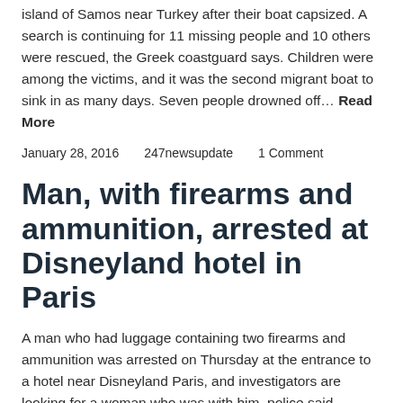Twenty four migrants have drowned on the Greek island of Samos near Turkey after their boat capsized. A search is continuing for 11 missing people and 10 others were rescued, the Greek coastguard says. Children were among the victims, and it was the second migrant boat to sink in as many days. Seven people drowned off… Read More
January 28, 2016    247newsupdate    1 Comment
Man, with firearms and ammunition, arrested at Disneyland hotel in Paris
A man who had luggage containing two firearms and ammunition was arrested on Thursday at the entrance to a hotel near Disneyland Paris, and investigators are looking for a woman who was with him, police said.